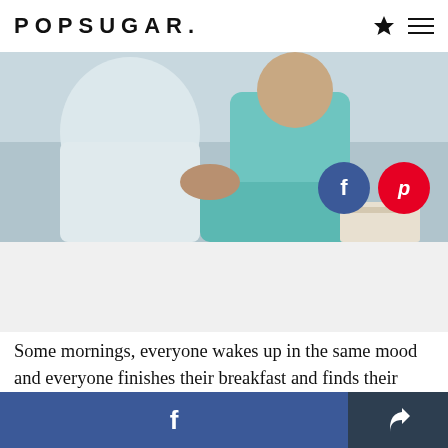POPSUGAR.
[Figure (photo): Two people sitting together on a bed, one in white clothing and one in teal/aqua pajamas, hands clasped together, in a light bedroom setting.]
Some mornings, everyone wakes up in the same mood and everyone finishes their breakfast and finds their shoes and we bound out of the house together on a mutually exciting new adventure without forgetting the water bottles.
Actually, that never happens.
f  [share]